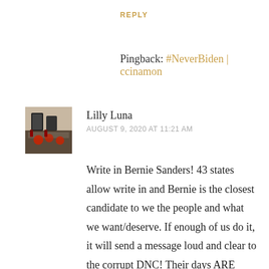REPLY
Pingback: #NeverBiden | ccinamon
Lilly Luna
AUGUST 9, 2020 AT 11:21 AM
[Figure (photo): Avatar photo of Lilly Luna showing decorative items on a surface]
Write in Bernie Sanders! 43 states allow write in and Bernie is the closest candidate to we the people and what we want/deserve. If enough of us do it, it will send a message loud and clear to the corrupt DNC! Their days ARE numbered! It is time to recapture the Democratic Party and make the damned republicans